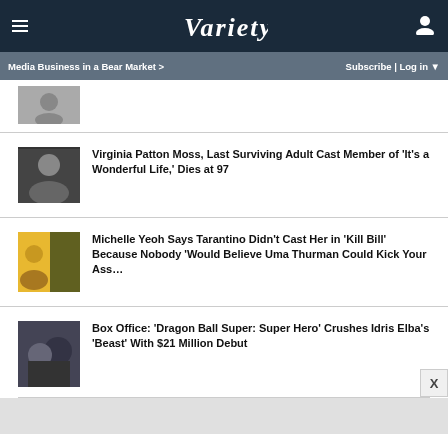VARIETY
Media Business in a Bear Market > | Subscribe | Log in
Virginia Patton Moss, Last Surviving Adult Cast Member of 'It's a Wonderful Life,' Dies at 97
Michelle Yeoh Says Tarantino Didn't Cast Her in 'Kill Bill' Because Nobody 'Would Believe Uma Thurman Could Kick Your Ass…
Box Office: 'Dragon Ball Super: Super Hero' Crushes Idris Elba's 'Beast' With $21 Million Debut